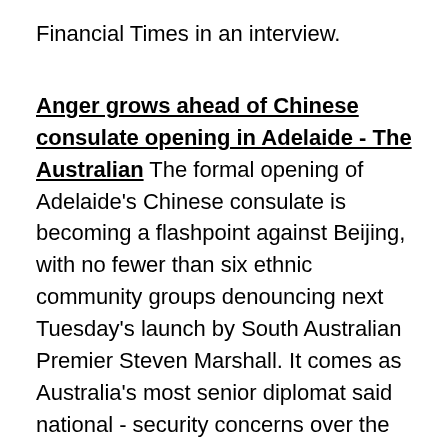Financial Times in an interview.
Anger grows ahead of Chinese consulate opening in Adelaide - The Australian The formal opening of Adelaide's Chinese consulate is becoming a flashpoint against Beijing, with no fewer than six ethnic community groups denouncing next Tuesday's launch by South Australian Premier Steven Marshall. It comes as Australia's most senior diplomat said national - security concerns over the controversial consulate were a matter of “active consideration” for the federal government.
Uyghurs in Turkey protest Chinese foreign minister's visit - AP Hundreds of Uyghurs staged protests in Ankara and Istanbul on Thursday, denouncing Chinese Foreign Minister Wang Yi's visit to